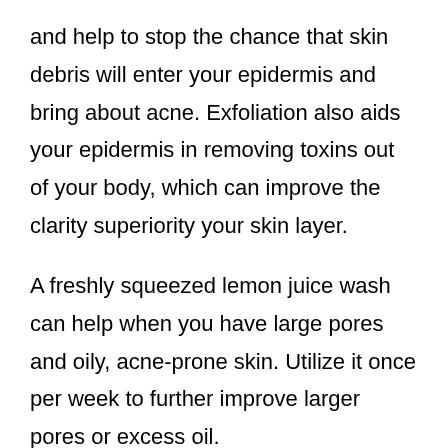and help to stop the chance that skin debris will enter your epidermis and bring about acne. Exfoliation also aids your epidermis in removing toxins out of your body, which can improve the clarity superiority your skin layer.
A freshly squeezed lemon juice wash can help when you have large pores and oily, acne-prone skin. Utilize it once per week to further improve larger pores or excess oil.
If you have blemishes, try applying just a little apple cider vinegar towards the area affected. This will likely give your face moisture, which will help abolish acne. You should attempt this in the daytime to help you avoid receiving the smell on your own sheets.
Should you prefer a soothing mask for every week's end, use